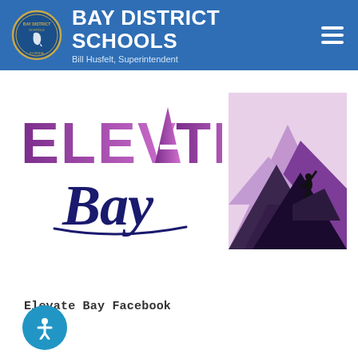BAY DISTRICT SCHOOLS
Bill Husfelt, Superintendent
[Figure (logo): Elevate Bay logo with purple gradient ELEVATE text and dark navy cursive Bay text]
[Figure (illustration): Purple mountain silhouette with a person climbing, shades of purple and pink layered mountains]
Elevate Bay Facebook